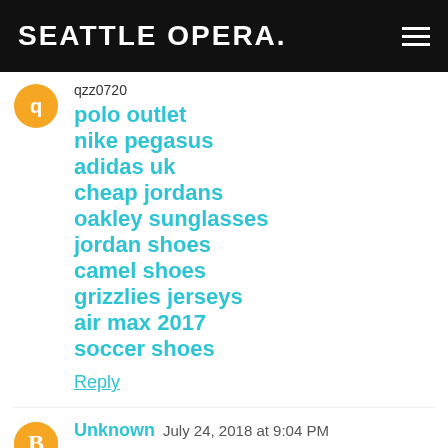SEATTLE OPERA.
qzz0720
polo outlet
nike pegasus
adidas uk
cheap jordans
oakley sunglasses
jordan shoes
camel shoes
grizzlies jerseys
air max 2017
soccer shoes
Reply
Unknown  July 24, 2018 at 9:04 PM
Great Work is done by you keep up this kind of